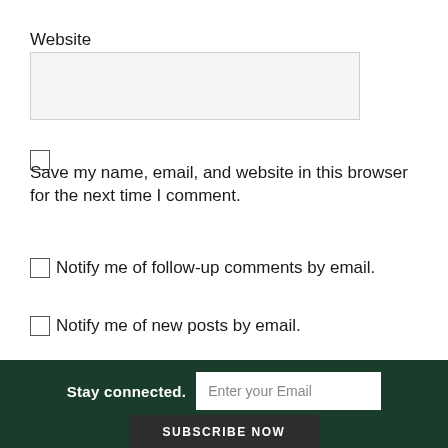Website
Save my name, email, and website in this browser for the next time I comment.
Notify me of follow-up comments by email.
Notify me of new posts by email.
POST COMMENT
Stay connected.
Enter your Email
SUBSCRIBE NOW